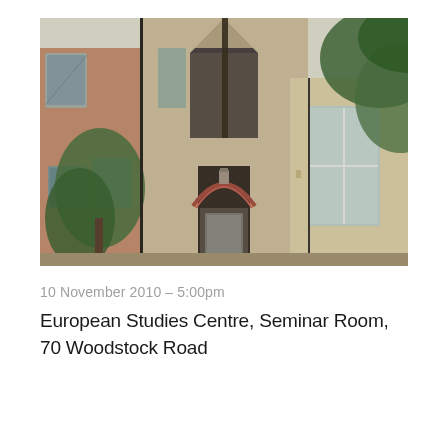[Figure (photo): Exterior photograph of a Victorian Gothic brick building with pointed arch doorway, arched windows, and tree branches visible — the European Studies Centre at 70 Woodstock Road, Oxford]
10 November 2010 – 5:00pm
European Studies Centre, Seminar Room, 70 Woodstock Road